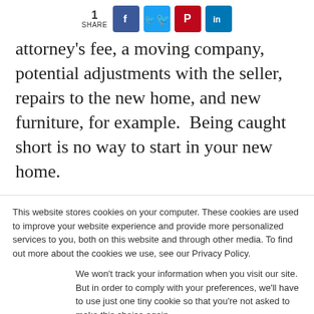[Figure (infographic): Social share bar showing count of 1 share, with buttons for Facebook, Twitter, Pinterest, and LinkedIn]
attorney's fee, a moving company, potential adjustments with the seller, repairs to the new home, and new furniture, for example.  Being caught short is no way to start in your new home.
5  Not Getting Pre-Approved For A
This website stores cookies on your computer. These cookies are used to improve your website experience and provide more personalized services to you, both on this website and through other media. To find out more about the cookies we use, see our Privacy Policy.
We won't track your information when you visit our site. But in order to comply with your preferences, we'll have to use just one tiny cookie so that you're not asked to make this choice again.